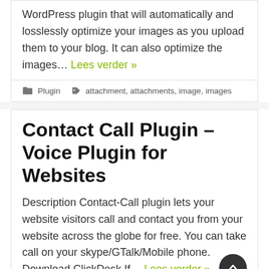WordPress plugin that will automatically and losslessly optimize your images as you upload them to your blog. It can also optimize the images… Lees verder »
Plugin   attachment, attachments, image, images
Contact Call Plugin – Voice Plugin for Websites
Description Contact-Call plugin lets your website visitors call and contact you from your website across the globe for free. You can take call on your skype/GTalk/Mobile phone. Download ClickDesk If… Lees verder »